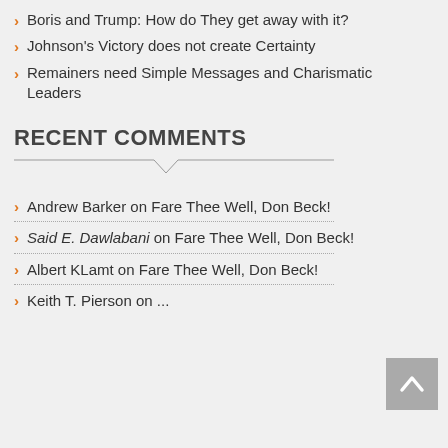Boris and Trump: How do They get away with it?
Johnson's Victory does not create Certainty
Remainers need Simple Messages and Charismatic Leaders
RECENT COMMENTS
Andrew Barker on Fare Thee Well, Don Beck!
Said E. Dawlabani on Fare Thee Well, Don Beck!
Albert KLamt on Fare Thee Well, Don Beck!
Keith T. Pierson on ...